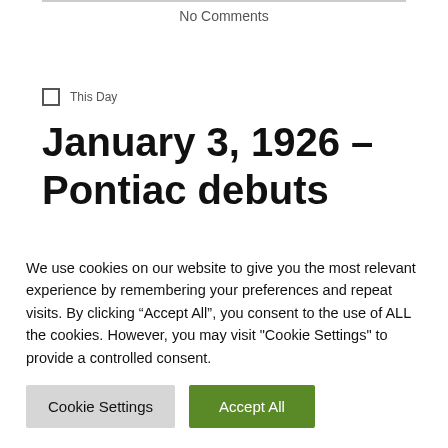No Comments
This Day
January 3, 1926 – Pontiac debuts
When it comes to car histories, Pontiac has one of the most interesting beginnings. It was on this day in
We use cookies on our website to give you the most relevant experience by remembering your preferences and repeat visits. By clicking “Accept All”, you consent to the use of ALL the cookies. However, you may visit "Cookie Settings" to provide a controlled consent.